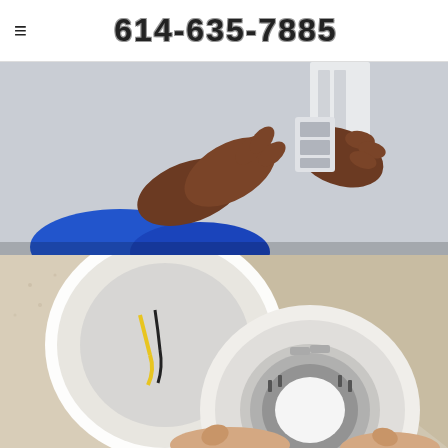614-635-7885
[Figure (photo): Person wearing a blue shirt using both hands to work on an electrical panel or wall-mounted device, close-up shot]
[Figure (photo): Close-up of hands installing or removing a smoke detector / electrical fixture from a ceiling mount, showing internal wiring with yellow and black wires]